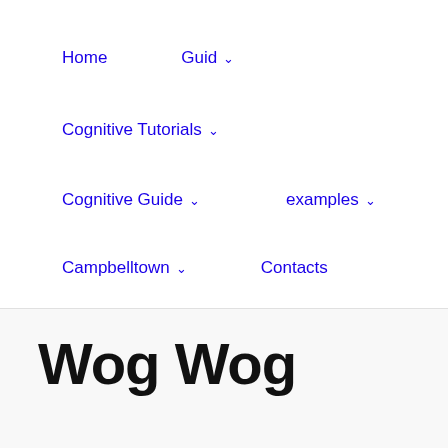Home | Guid ˅ | Cognitive Tutorials ˅ | Cognitive Guide ˅ | examples ˅ | Campbelltown ˅ | Contacts
Wog Wog